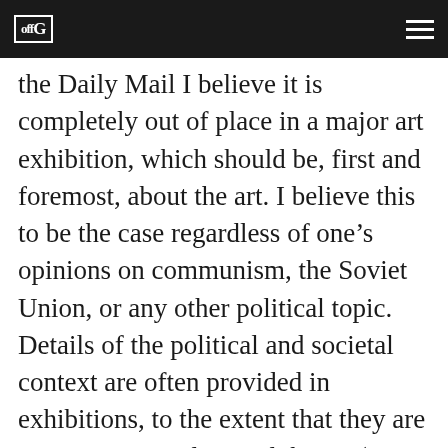offG [logo]
the Daily Mail I believe it is completely out of place in a major art exhibition, which should be, first and foremost, about the art. I believe this to be the case regardless of one’s opinions on communism, the Soviet Union, or any other political topic. Details of the political and societal context are often provided in exhibitions, to the extent that they are important to understand the art (as they obviously are in this case), but the usual (and proper) choice is to keep such information concise, to the point, and non-partisan.